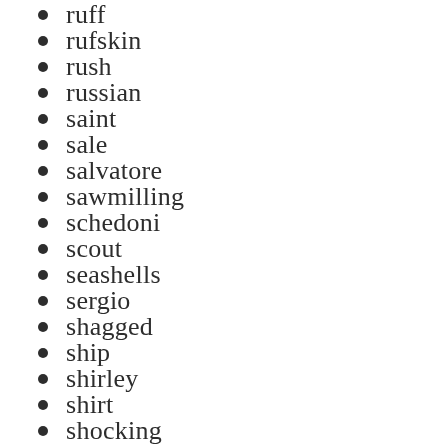ruff
rufskin
rush
russian
saint
sale
salvatore
sawmilling
schedoni
scout
seashells
sergio
shagged
ship
shirley
shirt
shocking
shoei